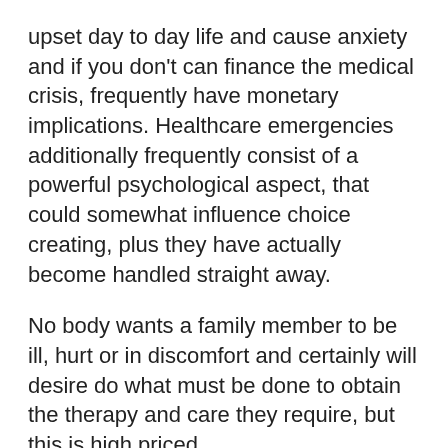upset day to day life and cause anxiety and if you don't can finance the medical crisis, frequently have monetary implications. Healthcare emergencies additionally frequently consist of a powerful psychological aspect, that could somewhat influence choice creating, plus they have actually become handled straight away.
No body wants a family member to be ill, hurt or in discomfort and certainly will desire do what must be done to obtain the therapy and care they require, but this is high priced.
In a great globe everybody else would place some cash into a crisis account every month and just put it to use when there in fact is a crisis.
Many people donвЂ™t do this as the day-to-